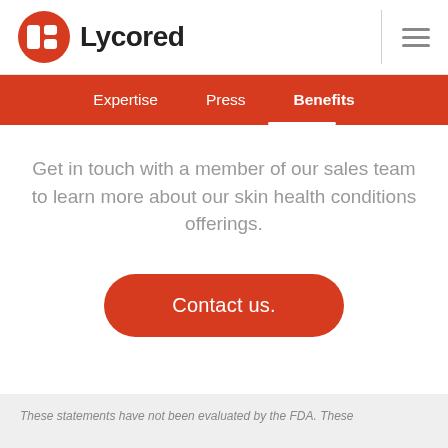Lycored
Expertise  Press  Benefits
Get in touch with a member of our sales team to learn more about our skin health conditions offerings.
Contact us.
These statements have not been evaluated by the FDA. These